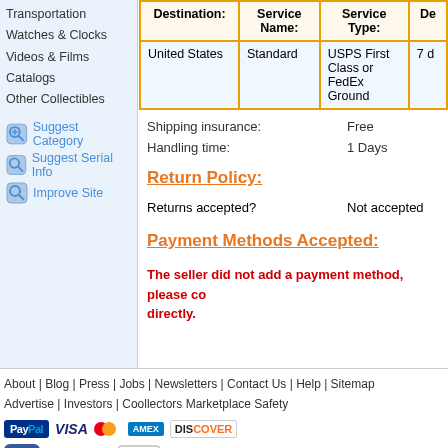Transportation
Watches & Clocks
Videos & Films
Catalogs
Other Collectibles
Suggest Category
Suggest Serial Info
Improve Site
| Destination: | Service Name: | Service Type: | De... |
| --- | --- | --- | --- |
| United States | Standard | USPS First Class or FedEx Ground | 7 d... |
Shipping insurance: Free
Handling time: 1 Days
Return Policy:
Returns accepted? Not accepted
Payment Methods Accepted:
The seller did not add a payment method, please co... directly.
About | Blog | Press | Jobs | Newsletters | Contact Us | Help | Sitemap
Advertise | Investors | Coollectors Marketplace Safety
Find us on Facebook
Tell your friends about us!